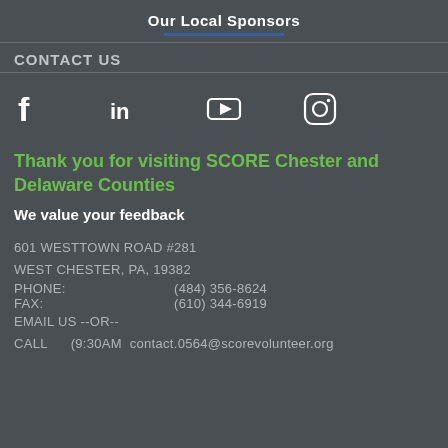Our Local Sponsors
CONTACT US
[Figure (infographic): Social media icons: Facebook, LinkedIn, YouTube, Instagram]
Thank you for visiting SCORE Chester and Delaware Counties
We value your feedback
601 WESTTOWN ROAD #281
WEST CHESTER, PA, 19382
PHONE:   (484) 356-8624
FAX:   (610) 344-6919
EMAIL US --OR--
CALL   (9:30AM  contact.0564@scorevolunteer.org